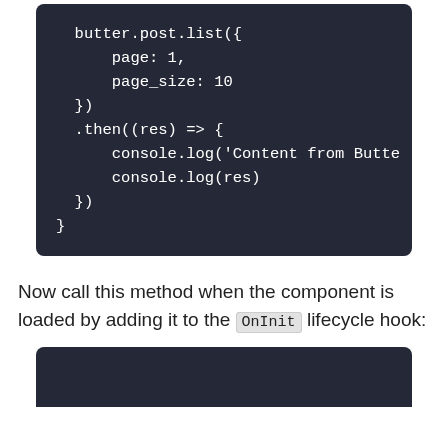[Figure (screenshot): Dark-themed code block showing JavaScript code: butter.post.list({ page: 1, page_size: 10 }).then((res) => { console.log('Content from Butte console.log(res) })]
Now call this method when the component is loaded by adding it to the OnInit lifecycle hook:
[Figure (screenshot): Bottom dark-themed code block (partial view)]